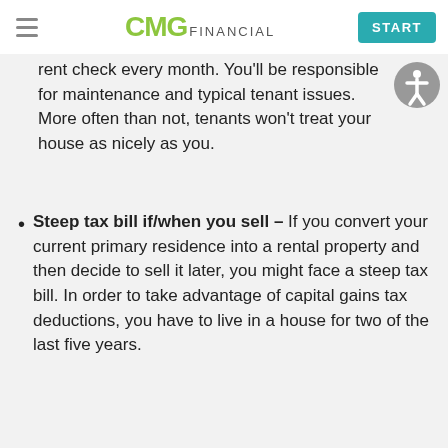CMG FINANCIAL | START
rent check every month. You'll be responsible for maintenance and typical tenant issues. More often than not, tenants won't treat your house as nicely as you.
Steep tax bill if/when you sell – If you convert your current primary residence into a rental property and then decide to sell it later, you might face a steep tax bill. In order to take advantage of capital gains tax deductions, you have to live in a house for two of the last five years.